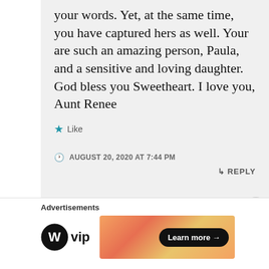your words. Yet, at the same time, you have captured hers as well. Your are such an amazing person, Paula, and a sensitive and loving daughter. God bless you Sweetheart. I love you, Aunt Renee
★ Like
AUGUST 20, 2020 AT 7:44 PM
↳ REPLY
Advertisements
[Figure (logo): WordPress VIP logo — circular W icon followed by 'vip' text]
[Figure (infographic): Orange/pink gradient advertisement banner with 'Learn more →' dark pill button]